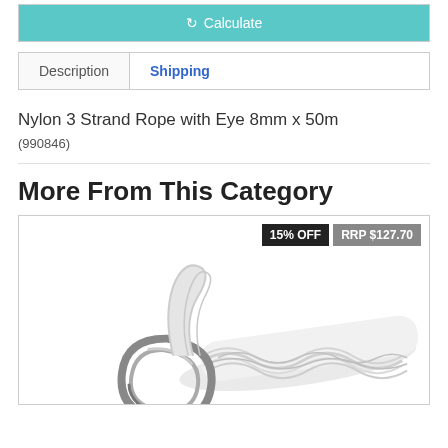[Figure (screenshot): Teal Calculate button with refresh icon]
Description | Shipping (tabs)
Nylon 3 Strand Rope with Eye 8mm x 50m
(990846)
More From This Category
[Figure (photo): Product image of nylon 3 strand rope with eye and metal thimble, showing badges: 15% OFF and RRP $127.70]